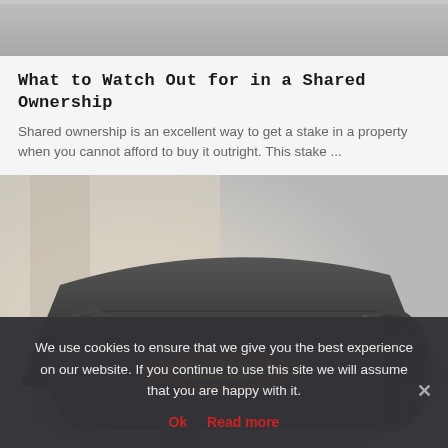[Figure (photo): Top portion of a webpage showing a grey/beige surface at the top]
What to Watch Out for in a Shared Ownership
Shared ownership is an excellent way to get a stake in a property when you cannot afford to buy it outright. This stake ...
[Figure (photo): Close-up photograph of an electric infrared quartz heater with glowing orange heating elements, dark grey cylindrical housing with metal grille, blurred light background]
We use cookies to ensure that we give you the best experience on our website. If you continue to use this site we will assume that you are happy with it.
Ok   Read more